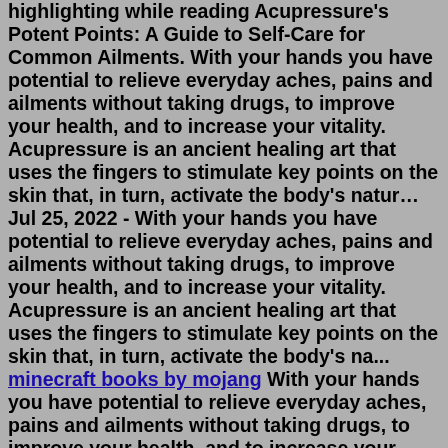highlighting while reading Acupressure's Potent Points: A Guide to Self-Care for Common Ailments. With your hands you have potential to relieve everyday aches, pains and ailments without taking drugs, to improve your health, and to increase your vitality. Acupressure is an ancient healing art that uses the fingers to stimulate key points on the skin that, in turn, activate the body's natur… Jul 25, 2022 - With your hands you have potential to relieve everyday aches, pains and ailments without taking drugs, to improve your health, and to increase your vitality. Acupressure is an ancient healing art that uses the fingers to stimulate key points on the skin that, in turn, activate the body's na... minecraft books by mojang With your hands you have potential to relieve everyday aches, pains and ailments without taking drugs, to improve your health, and to increase your vitality. Acupressure is an ancient healing art that uses the fingers to stimulate key points on the skin that, in turn, activate the body's natural self-healing processes. With this book, it is a skill you can